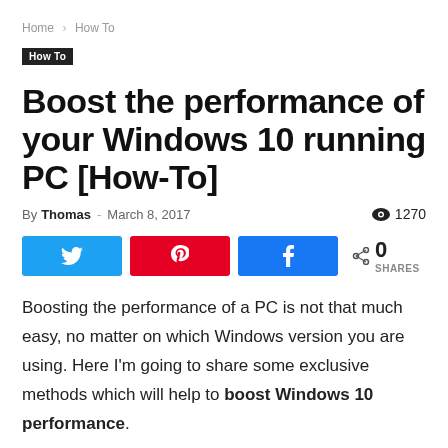Home › How To
How To
Boost the performance of your Windows 10 running PC [How-To]
By Thomas - March 8, 2017   👁 1270
[Figure (other): Social share buttons: Twitter, Pinterest, Facebook, and share count showing 0 SHARES]
Boosting the performance of a PC is not that much easy, no matter on which Windows version you are using. Here I'm going to share some exclusive methods which will help to boost Windows 10 performance.